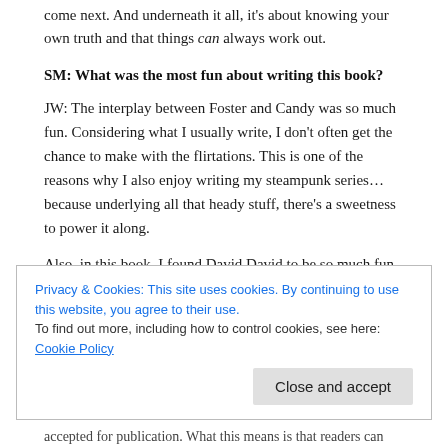come next. And underneath it all, it's about knowing your own truth and that things can always work out.
SM: What was the most fun about writing this book?
JW: The interplay between Foster and Candy was so much fun. Considering what I usually write, I don't often get the chance to make with the flirtations. This is one of the reasons why I also enjoy writing my steampunk series…because underlying all that heady stuff, there's a sweetness to power it along.
Also, in this book, I found David David to be so much fun to play with. Not being a stoner, it was pleasure to dive into that skin and see how far I could take it.
Privacy & Cookies: This site uses cookies. By continuing to use this website, you agree to their use. To find out more, including how to control cookies, see here: Cookie Policy
accepted for publication. What this means is that readers can